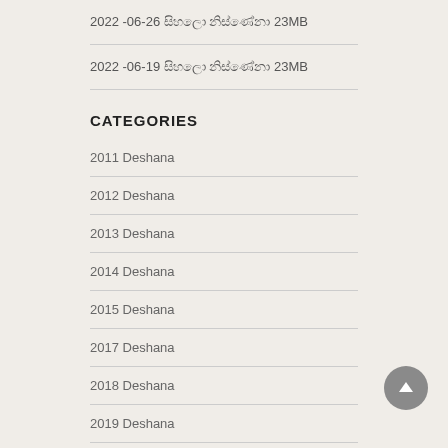2022 -06-26 [Sinhala text] 23MB
2022 -06-19 [Sinhala text] 23MB
CATEGORIES
2011 Deshana
2012 Deshana
2013 Deshana
2014 Deshana
2015 Deshana
2017 Deshana
2018 Deshana
2019 Deshana
2020 Deshana
2021 Deshana